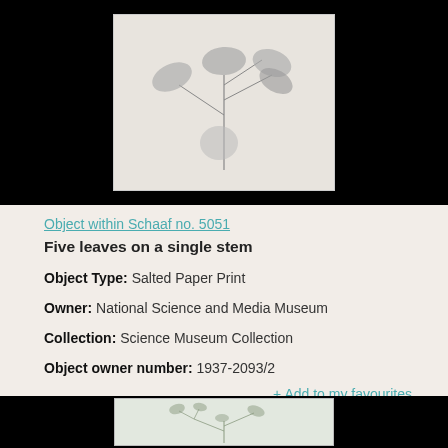[Figure (photo): Botanical photograph on salted paper print showing five leaves on a single stem, displayed against a light grey background, centered in a black-bordered frame.]
Object within Schaaf no. 5051
Five leaves on a single stem
Object Type: Salted Paper Print
Owner: National Science and Media Museum
Collection: Science Museum Collection
Object owner number: 1937-2093/2
+ Add to my favourites
[Figure (photo): Partial view of a second botanical salted paper print showing a plant with multiple small leaves on branching stems, displayed on a light background, partially visible at the bottom of the page.]